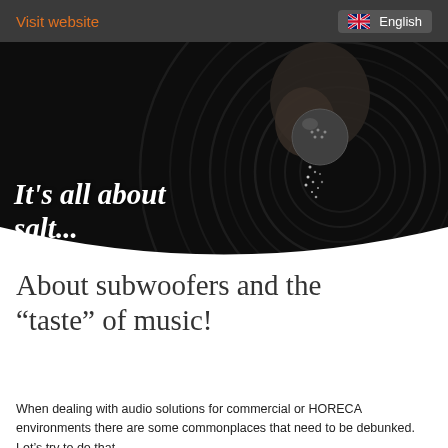Visit website   English
[Figure (photo): Dark moody photo of a hand holding a salt shaker over a vinyl record, salt pouring down. Curved lower edge on the image. Text overlay reads: It's all about salt...]
About subwoofers and the “taste” of music!
When dealing with audio solutions for commercial or HORECA environments there are some commonplaces that need to be debunked. Let’s try to do that.